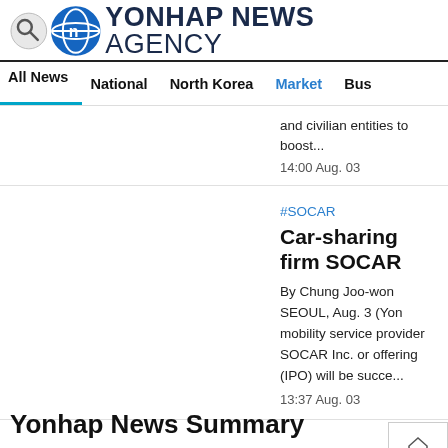YONHAP NEWS AGENCY
All News | National | North Korea | Market | Bus
and civilian entities to boost...
14:00 Aug. 03
#SOCAR
Car-sharing firm SOCAR
By Chung Joo-won SEOUL, Aug. 3 (Yon mobility service provider SOCAR Inc. or offering (IPO) will be succe...
13:37 Aug. 03
Yonhap News Summary